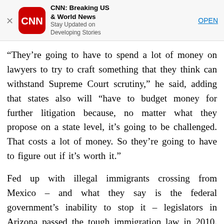[Figure (other): CNN app advertisement banner with CNN logo, title 'CNN: Breaking US & World News', subtitle 'Stay Updated on Developing Stories', and an OPEN button]
“They’re going to have to spend a lot of money on lawyers to try to craft something that they think can withstand Supreme Court scrutiny,” he said, adding that states also will “have to budget money for further litigation because, no matter what they propose on a state level, it’s going to be challenged. That costs a lot of money. So they’re going to have to figure out if it’s worth it.”
Fed up with illegal immigrants crossing from Mexico – and what they say is the federal government’s inability to stop it – legislators in Arizona passed the tough immigration law in 2010. The federal government sued, saying that Arizona overreached.